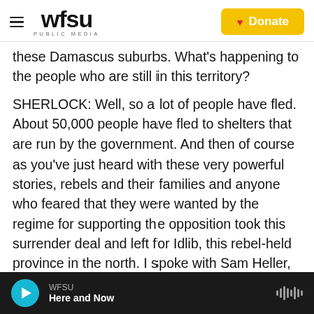WFSU PUBLIC MEDIA / Donate
these Damascus suburbs. What's happening to the people who are still in this territory?
SHERLOCK: Well, so a lot of people have fled. About 50,000 people have fled to shelters that are run by the government. And then of course as you've just heard with these very powerful stories, rebels and their families and anyone who feared that they were wanted by the regime for supporting the opposition took this surrender deal and left for Idlib, this rebel-held province in the north. I spoke with Sam Heller, an expert from the International Crisis Group, and he thinks the regime may have offered
WFSU / Here and Now